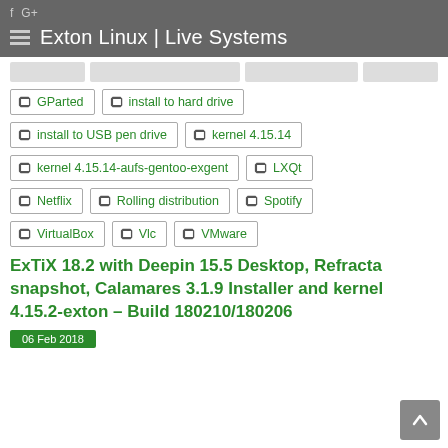f G+  ≡ Exton Linux | Live Systems
GParted
install to hard drive
install to USB pen drive
kernel 4.15.14
kernel 4.15.14-aufs-gentoo-exgent
LXQt
Netflix
Rolling distribution
Spotify
VirtualBox
Vlc
VMware
ExTiX 18.2 with Deepin 15.5 Desktop, Refracta snapshot, Calamares 3.1.9 Installer and kernel 4.15.2-exton – Build 180210/180206